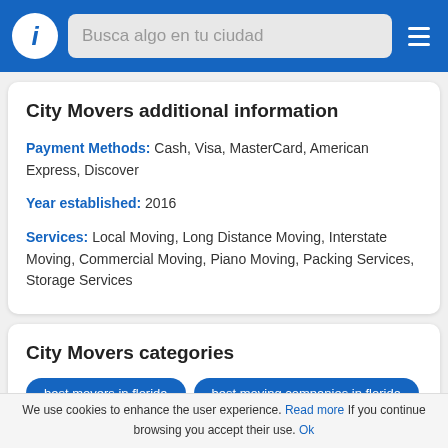Busca algo en tu ciudad
City Movers additional information
Payment Methods: Cash, Visa, MasterCard, American Express, Discover
Year established: 2016
Services: Local Moving, Long Distance Moving, Interstate Moving, Commercial Moving, Piano Moving, Packing Services, Storage Services
City Movers categories
best movers in florida
best moving companies in florida
cross country movers florida
florida movers
We use cookies to enhance the user experience. Read more If you continue browsing you accept their use. Ok